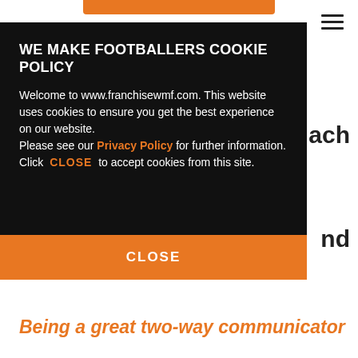[Figure (screenshot): Cookie consent modal overlay on a website (www.franchisewmf.com) with dark background, showing cookie policy title, body text with Privacy Policy link and CLOSE inline link, and an orange CLOSE button.]
WE MAKE FOOTBALLERS COOKIE POLICY
Welcome to www.franchisewmf.com. This website uses cookies to ensure you get the best experience on our website. Please see our Privacy Policy for further information. Click CLOSE to accept cookies from this site.
CLOSE
Being a great two-way communicator